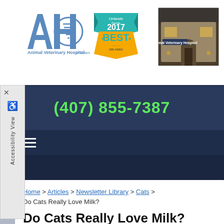[Figure (logo): Animal Veterinary Hospital of Orlando logo (AVH letters with tornado icon) plus Orlando's Best 2017 badge and hospital photo]
(407) 855-7387
Home > Articles > Newsletter Library > Cats > Do Cats Really Love Milk?
Do Cats Really Love Milk?